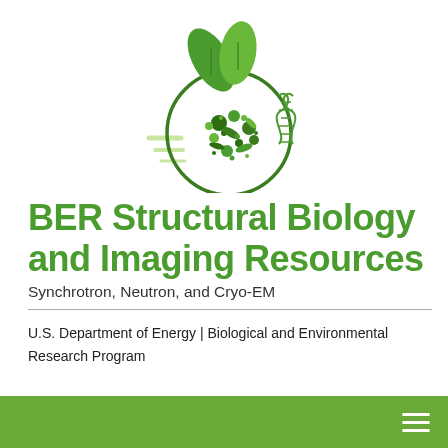[Figure (logo): BER Structural Biology and Imaging Resources logo: a circular petri dish with green microorganism dots and rods, topped with two green leaves, with a DNA helix on the right side and motion lines on the left, all in shades of green]
BER Structural Biology and Imaging Resources
Synchrotron, Neutron, and Cryo-EM
U.S. Department of Energy | Biological and Environmental Research Program